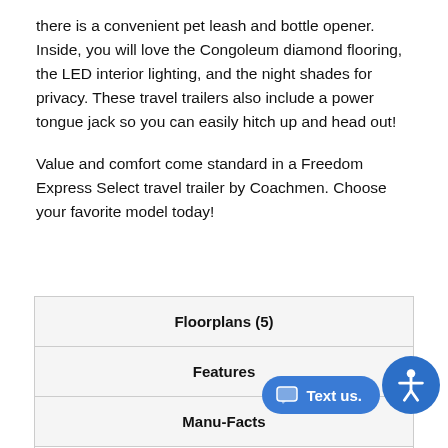there is a convenient pet leash and bottle opener. Inside, you will love the Congoleum diamond flooring, the LED interior lighting, and the night shades for privacy. These travel trailers also include a power tongue jack so you can easily hitch up and head out!
Value and comfort come standard in a Freedom Express Select travel trailer by Coachmen. Choose your favorite model today!
| Floorplans (5) |
| Features |
| Manu-Facts |
|  |